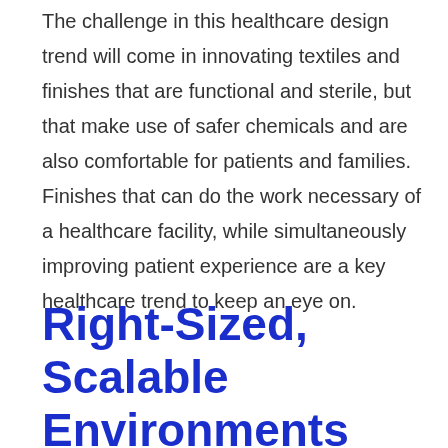The challenge in this healthcare design trend will come in innovating textiles and finishes that are functional and sterile, but that make use of safer chemicals and are also comfortable for patients and families. Finishes that can do the work necessary of a healthcare facility, while simultaneously improving patient experience are a key healthcare trend to keep an eye on.
Right-Sized, Scalable Environments